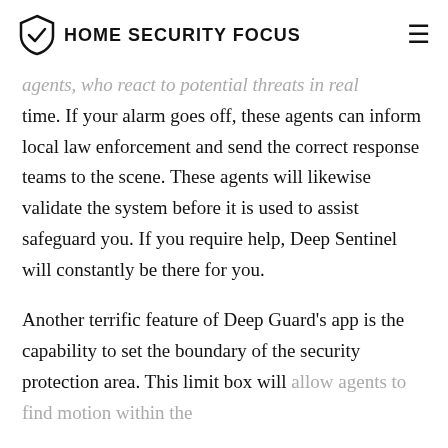HOME SECURITY FOCUS
agents, who react to potential threats in real time. If your alarm goes off, these agents can inform local law enforcement and send the correct response teams to the scene. These agents will likewise validate the system before it is used to assist safeguard you. If you require help, Deep Sentinel will constantly be there for you.
Another terrific feature of Deep Guard’s app is the capability to set the boundary of the security protection area. This limit box will allow agents to find motion within the